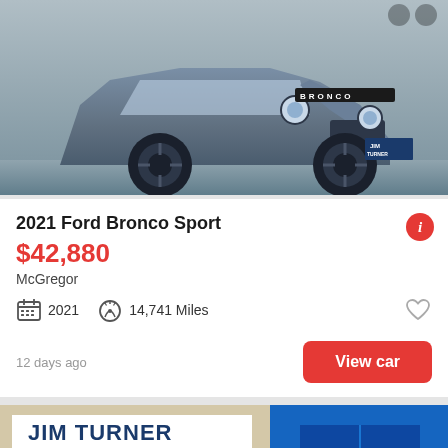[Figure (photo): 2021 Ford Bronco Sport in dark blue/grey color, front 3/4 view, parked on pavement. Vehicle has distinctive round headlights and BRONCO badge visible. Dealer plate partially visible.]
2021 Ford Bronco Sport
$42,880
McGregor
2021
14,741 Miles
12 days ago
View car
[Figure (photo): White Ford F-250 Super Duty truck parked in front of Jim Turner dealership. Blue and white dealership building visible in background. 'See photo' button overlay in bottom right corner.]